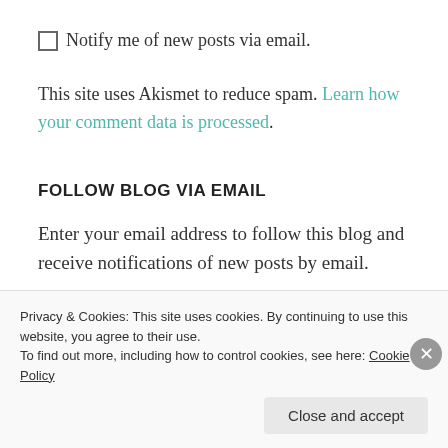☐ Notify me of new posts via email.
This site uses Akismet to reduce spam. Learn how your comment data is processed.
FOLLOW BLOG VIA EMAIL
Enter your email address to follow this blog and receive notifications of new posts by email.
Privacy & Cookies: This site uses cookies. By continuing to use this website, you agree to their use. To find out more, including how to control cookies, see here: Cookie Policy
Close and accept